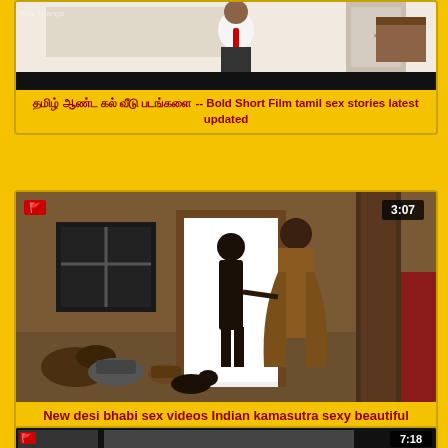[Figure (screenshot): Partial video thumbnail showing a person in white shirt with red tie/scarf, room background. Black bar at bottom.]
தமிழ் ஆண்ட கல் வீடு படங்களை -- Bold Short Film tamil sex stories latest updated
[Figure (screenshot): Video thumbnail showing two figures standing at a doorway in a rural Indian setting, duration 3:07. Flag icon top left.]
New desi bhabi sex videos Indian kamasutra sexy beautiful woman
[Figure (screenshot): Partial video thumbnail at bottom of page, duration 7:18 visible.]